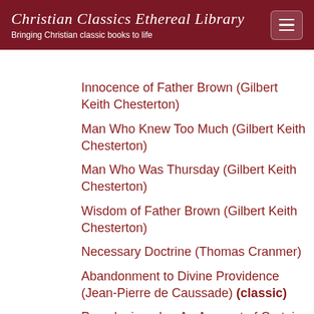Christian Classics Ethereal Library
Bringing Christian classic books to life
Innocence of Father Brown (Gilbert Keith Chesterton)
Man Who Knew Too Much (Gilbert Keith Chesterton)
Man Who Was Thursday (Gilbert Keith Chesterton)
Wisdom of Father Brown (Gilbert Keith Chesterton)
Necessary Doctrine (Thomas Cranmer)
Abandonment to Divine Providence (Jean-Pierre de Caussade) (classic)
Pseudepigrapha: An Account of Certain Apocryphal Sacred Writings of the Jews and Early Christians (William J. Deane)
Robinson Crusoe (Daniel Defoe)
Dionysius the Areopagite, Works (1897) (Pseudo-Dionysius) (classic)